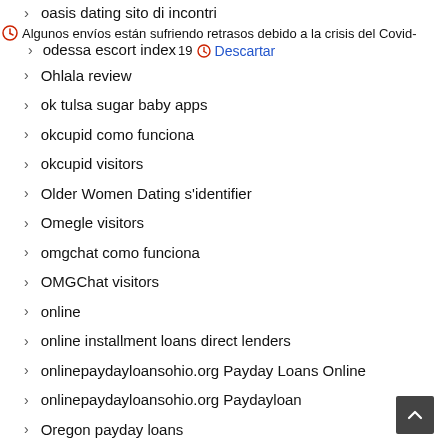oasis dating sito di incontri
Algunos envíos están sufriendo retrasos debido a la crisis del Covid-19  Descartar
odessa escort index
Ohlala review
ok tulsa sugar baby apps
okcupid como funciona
okcupid visitors
Older Women Dating s'identifier
Omegle visitors
omgchat como funciona
OMGChat visitors
online
online installment loans direct lenders
onlinepaydayloansohio.org Payday Loans Online
onlinepaydayloansohio.org Paydayloan
Oregon payday loans